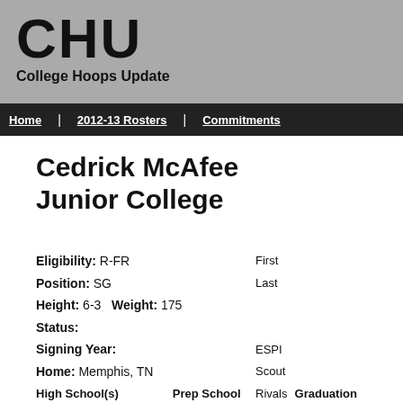CHU College Hoops Update
Home | 2012-13 Rosters | Commitments
Cedrick McAfee Junior College
Eligibility: R-FR
Position: SG
Height: 6-3   Weight: 175
Status:
Signing Year:
Home: Memphis, TN
First
Last
ESPN
Scout
Rivals
Hot 1
High School(s)   Prep School   Graduation